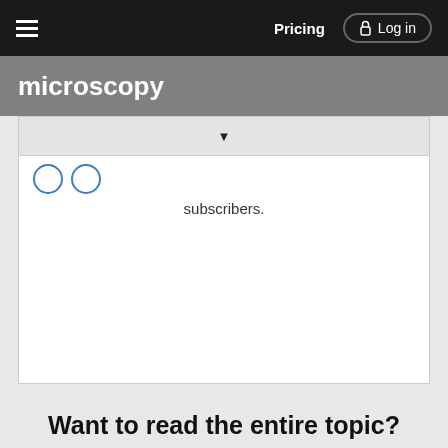Pricing | Log in
microscopy
subscribers.
Want to read the entire topic?
Purchase a subscription
I'm already a subscriber
Browse sample topics